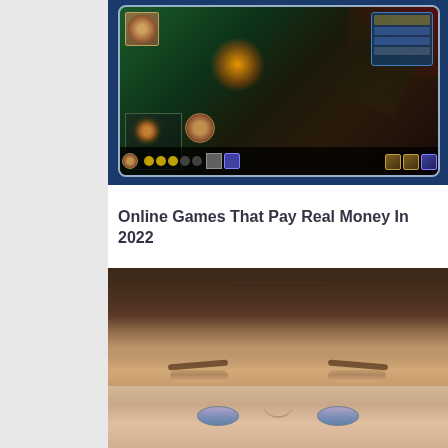[Figure (screenshot): Screenshot of an online multiplayer video game (appears to be League of Legends or similar MOBA), showing game map, character portraits, HUD elements, minimap, and game UI on a blue background.]
Online Games That Pay Real Money In 2022
[Figure (photo): Photo of a person's face, showing brown hair at the top and eyes/face at the bottom. A black square with a white upward arrow (scroll-to-top button) overlays the image in the lower right area.]